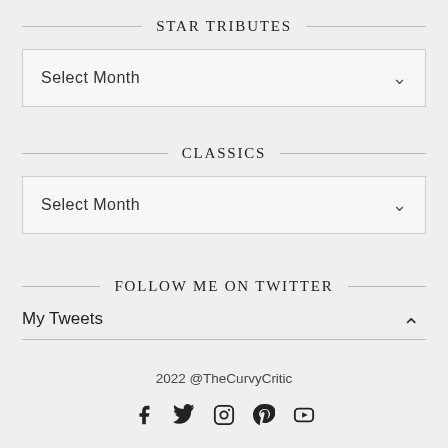STAR TRIBUTES
[Figure (other): Dropdown selector showing 'Select Month' with a chevron arrow]
CLASSICS
[Figure (other): Dropdown selector showing 'Select Month' with a chevron arrow]
FOLLOW ME ON TWITTER
My Tweets
2022 @TheCurvyCritic
[Figure (other): Social media icons: Facebook, Twitter, Instagram, Pinterest, YouTube]